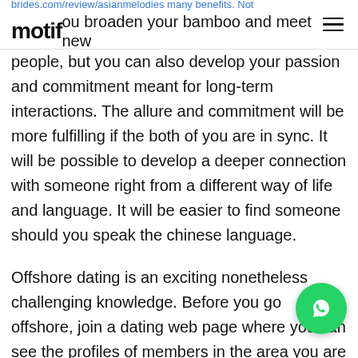brides.com/review/asianmelodies many benefits. Not only motif
ou broaden your bamboo and meet new people, but you can also develop your passion and commitment meant for long-term interactions. The allure and commitment will be more fulfilling if the both of you are in sync. It will be possible to develop a deeper connection with someone right from a different way of life and language. It will be easier to find someone should you speak the chinese language.
Offshore dating is an exciting nonetheless challenging knowledge. Before you go offshore, join a dating web page where you can see the profiles of members in the area you are looking at. Make your account easy to find so that you can attract local females. Before you go over a date, ensure you are comfortable with the customs and persuits. There are also many advantages to dating abroad. Here are a few things to keep in mind.